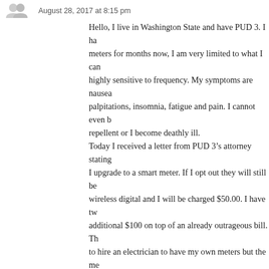August 28, 2017 at 8:15 pm
Hello, I live in Washington State and have PUD 3. I ha meters for months now, I am very limited to what I can highly sensitive to frequency. My symptoms are nausea palpitations, insomnia, fatigue and pain. I cannot even repellent or I become deathly ill. Today I received a letter from PUD 3’s attorney stating I upgrade to a smart meter. If I opt out they will still be wireless digital and I will be charged $50.00. I have tw additional $100 on top of an already outrageous bill. Th to hire an electrician to have my own meters but the me stated that I can go off grid. How is any of this fair? How can they force someone to by the federal government? How can they charge a per out even though the meter will still be upgraded causin they threaten to not give you power if you don’t compl to decline in health and cause much undo financial har Americans with Disabilities Act in place?